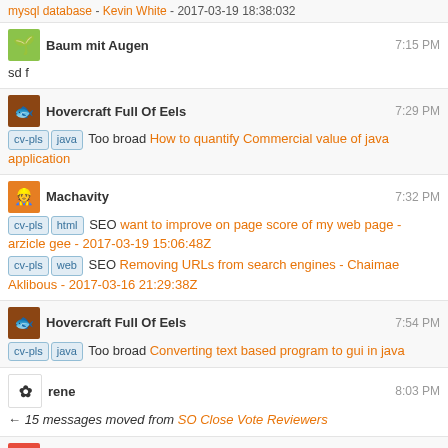mysql database - Kevin White - 2017-03-19 18:38:032
Baum mit Augen 7:15 PM
sd f
Hovercraft Full Of Eels 7:29 PM
cv-pls java Too broad How to quantify Commercial value of java application
Machavity 7:32 PM
cv-pls html SEO want to improve on page score of my web page - arzicle gee - 2017-03-19 15:06:48Z
cv-pls web SEO Removing URLs from search engines - Chaimae Aklibous - 2017-03-16 21:29:38Z
Hovercraft Full Of Eels 7:54 PM
cv-pls java Too broad Converting text based program to gui in java
rene 8:03 PM
← 15 messages moved from SO Close Vote Reviewers
SmokeDetector 8:06 PM
[ SmokeDetector | MS ] Few unique characters in body: Header for list by Ebrahim Mohammed on stackoverflow.com
Baum mit Augen 8:06 PM
sd v
Hovercraft Full Of Eels 8:10 PM
cv-pls java too broad, states "all I want is the code" to make simple java netbeans